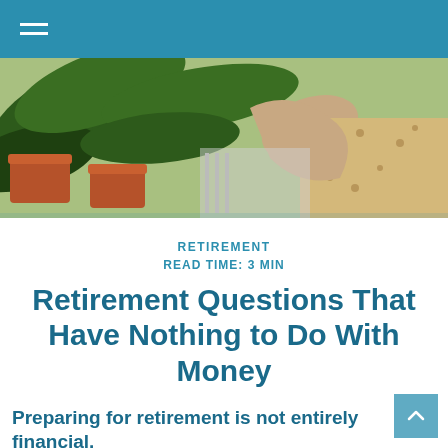[Figure (photo): Close-up of a person's hand near green tropical potted plants in terracotta pots. The person is wearing a floral top and a bracelet.]
RETIREMENT
READ TIME: 3 MIN
Retirement Questions That Have Nothing to Do With Money
Preparing for retirement is not entirely financial.